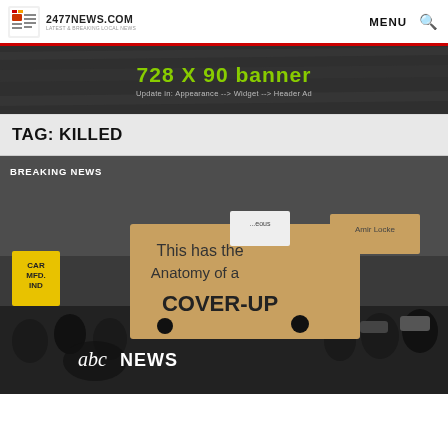2477NEWS.COM · LATEST & BREAKING LOCAL NEWS · MENU
[Figure (other): 728 X 90 banner advertisement placeholder with dark background. Text: '728 X 90 banner' in green, 'Update in: Appearance --> Widget --> Header Ad' in grey.]
TAG: KILLED
[Figure (photo): Protest crowd photo with people holding signs. A large sign reads 'This has the Anatomy of a COVER-UP'. Other signs visible include 'Amir Locke' and partial signs. abc NEWS logo visible in lower portion. 'BREAKING NEWS' label in upper left.]